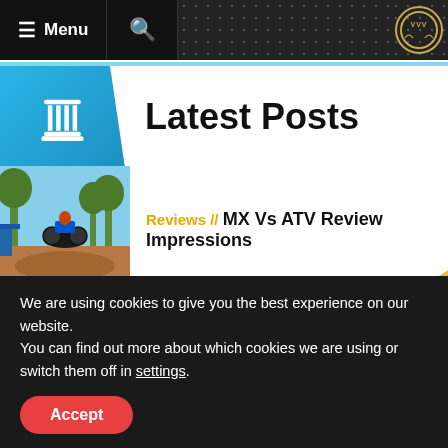≡ Menu  🔍  VVV
Latest Posts
Reviews // MX Vs ATV Review Impressions
News // Forza Motorsport
We are using cookies to give you the best experience on our website.
You can find out more about which cookies we are using or switch them off in settings.
Accept